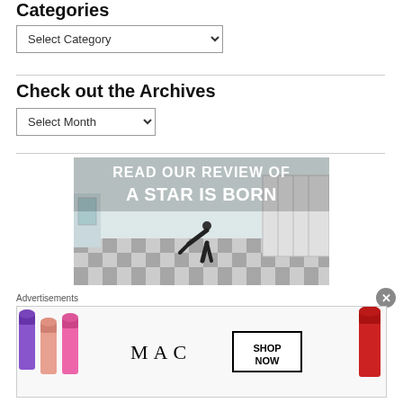Categories
Select Category (dropdown)
Check out the Archives
Select Month (dropdown)
[Figure (screenshot): Promotional image for movie review: 'READ OUR REVIEW OF A STAR IS BORN' text over a scene of a person bending over in a checkered-floor locker room.]
Advertisements
[Figure (photo): MAC Cosmetics advertisement banner showing colorful lipsticks on the left, MAC logo in the center, a SHOP NOW box, and a red lipstick on the right.]